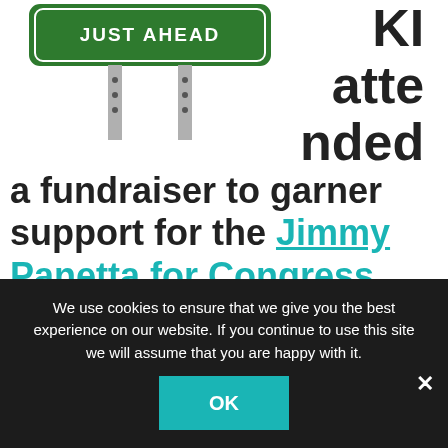[Figure (illustration): Green road sign reading 'JUST AHEAD' on two poles against white background]
KI attended a fundraiser to garner support for the Jimmy Panetta for Congress campaign. It was an intimate, delicious affair sponsored by the Organic PAC on which I humbly sit as a committee member. Jimmy
We use cookies to ensure that we give you the best experience on our website. If you continue to use this site we will assume that you are happy with it. OK